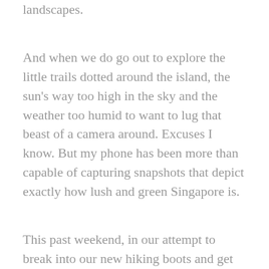landscapes.
And when we do go out to explore the little trails dotted around the island, the sun's way too high in the sky and the weather too humid to want to lug that beast of a camera around. Excuses I know. But my phone has been more than capable of capturing snapshots that depict exactly how lush and green Singapore is.
This past weekend, in our attempt to break into our new hiking boots and get in a bit more training before our big walk up